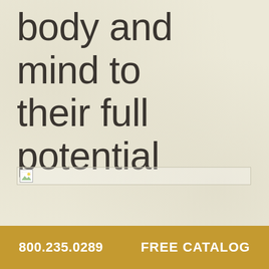body and mind to their full potential
[Figure (photo): Broken/missing image placeholder with small icon, shown as a bordered rectangle with an image icon in the top-left corner]
800.235.0289   FREE CATALOG